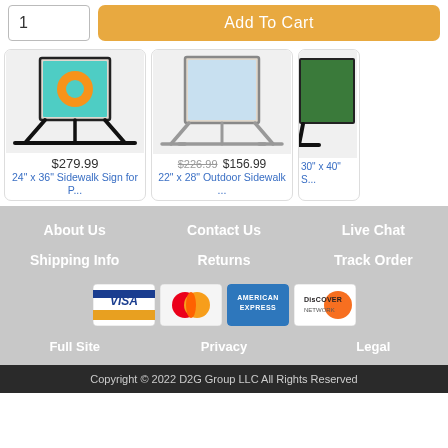1
Add To Cart
[Figure (photo): 24x36 sidewalk sign stand with colorful donut graphic, black metal frame]
$279.99
24" x 36" Sidewalk Sign for P...
[Figure (photo): 22x28 outdoor sidewalk sign stand, silver/gray metal frame]
$226.99 $156.99
22" x 28" Outdoor Sidewalk ...
[Figure (photo): 30x40 sidewalk sign, partial view, black frame]
30" x 40" S...
About Us
Contact Us
Live Chat
Shipping Info
Returns
Track Order
[Figure (other): Payment card logos: Visa, MasterCard, American Express, Discover]
Full Site
Privacy
Legal
Copyright © 2022 D2G Group LLC All Rights Reserved